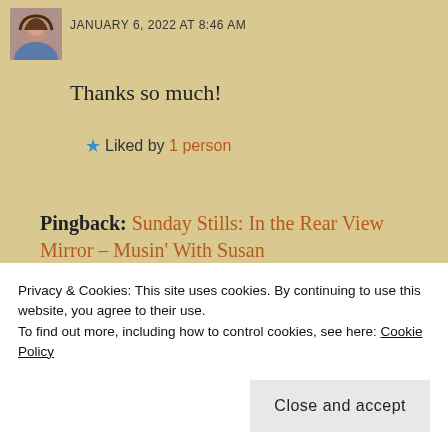[Figure (photo): Small avatar photo of a woman with brown hair]
JANUARY 6, 2022 AT 8:46 AM
Thanks so much!
★ Liked by 1 person
Pingback: Sunday Stills: In the Rear View Mirror – Musin' With Susan
Pingback: Let Us Do Good – Wind Kisses
Privacy & Cookies: This site uses cookies. By continuing to use this website, you agree to their use.
To find out more, including how to control cookies, see here: Cookie Policy
Close and accept